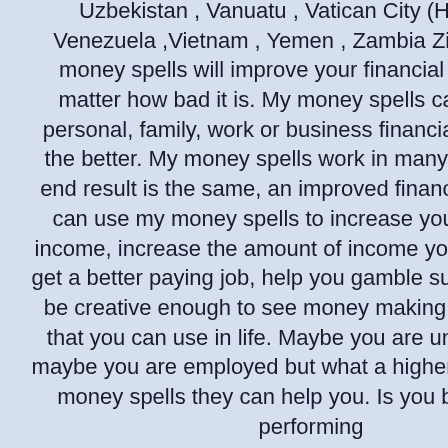Uzbekistan , Vanuatu , Vatican City (Holy See) , Venezuela ,Vietnam , Yemen , Zambia Zimbabwe My money spells will improve your financial situation no matter how bad it is. My money spells can help your personal, family, work or business financial situation for the better. My money spells work in many ways but the end result is the same, an improved financial situation. I can use my money spells to increase your sources of income, increase the amount of income you get, help out get a better paying job, help you gamble successfully and be creative enough to see money making opportunities that you can use in life. Maybe you are unemployed or maybe you are employed but what a higher salary get my money spells they can help you. Is you business not performing